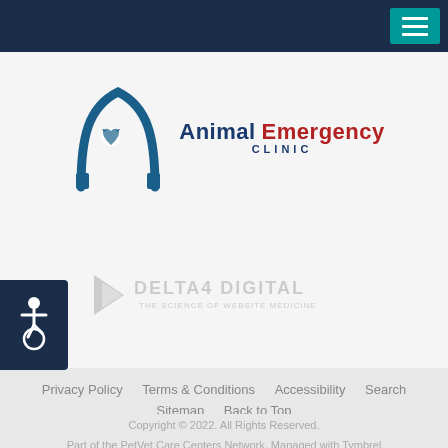[Figure (logo): Animal Emergency Clinic logo with blue arch/gateway arch shape and text]
[Figure (logo): Delta4 Digital watermark logo in light gray]
[Figure (other): Accessibility wheelchair icon on dark navy background]
Privacy Policy   Terms & Conditions   Accessibility   Search   Sitemap   Back to Top
Copyright © 2022. All Rights Reserved.
Part of the PetVet Care Centers Network. Managed with Tymbrel